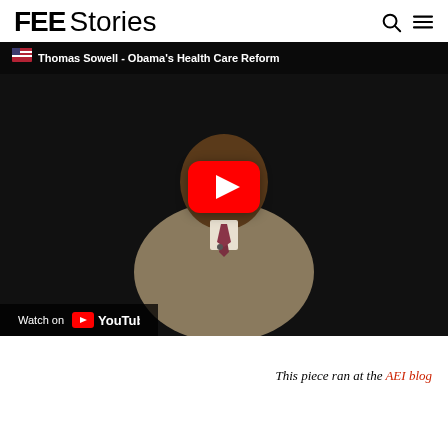FEE Stories
[Figure (screenshot): YouTube video thumbnail showing Thomas Sowell with title 'Thomas Sowell - Obama's Health Care Reform', with a YouTube play button overlay and 'Watch on YouTube' bar at the bottom.]
This piece ran at the AEI blog